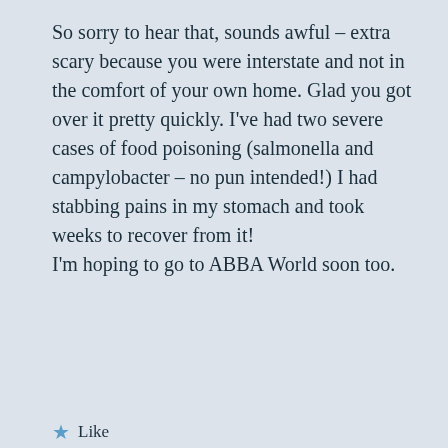So sorry to hear that, sounds awful – extra scary because you were interstate and not in the comfort of your own home. Glad you got over it pretty quickly. I've had two severe cases of food poisoning (salmonella and campylobacter – no pun intended!) I had stabbing pains in my stomach and took weeks to recover from it!
I'm hoping to go to ABBA World soon too.
★ Like
Reply
Leave a Reply
Enter your comment here...